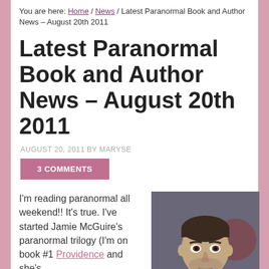You are here: Home / News / Latest Paranormal Book and Author News – August 20th 2011
Latest Paranormal Book and Author News – August 20th 2011
AUGUST 20, 2011 BY MARYSE
3 COMMENTS
I'm reading paranormal all weekend!! It's true. I've started Jamie McGuire's paranormal trilogy (I'm on book #1 Providence and she's
[Figure (photo): Photo of a dark-haired man in a tank top, looking at camera, appears to be in a gym or studio setting]